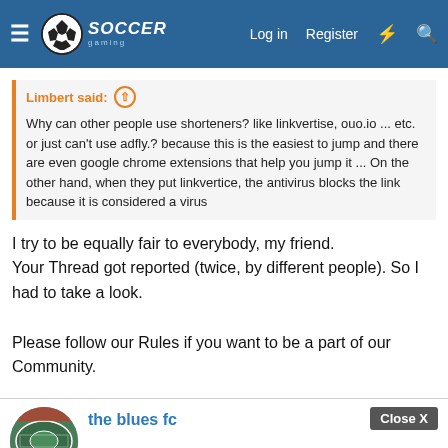Soccer Gaming — Log in  Register
Limbert said: ↑
Why can other people use shorteners? like linkvertise, ouo.io ... etc. or just can't use adfly.? because this is the easiest to jump and there are even google chrome extensions that help you jump it ... On the other hand, when they put linkvertice, the antivirus blocks the link because it is considered a virus
I try to be equally fair to everybody, my friend.
Your Thread got reported (twice, by different people). So I had to take a look.

Please follow our Rules if you want to be a part of our Community.
the blues fc